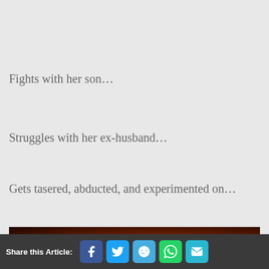Fights with her son…
Struggles with her ex-husband…
Gets tasered, abducted, and experimented on…
[Figure (photo): Dark reddish-toned photo showing a dimly lit scene with warm amber/orange tones, appears to show a person in low lighting]
Share this Article: [Facebook] [Twitter] [Reddit] [WhatsApp] [Email]